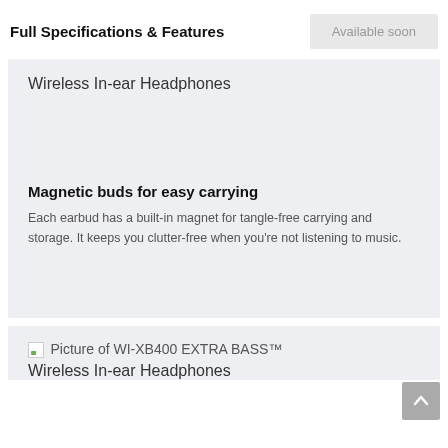Full Specifications & Features
Available soon
Wireless In-ear Headphones
Magnetic buds for easy carrying
Each earbud has a built-in magnet for tangle-free carrying and storage. It keeps you clutter-free when you're not listening to music.
[Figure (photo): Broken image placeholder for WI-XB400 EXTRA BASS™ Wireless In-ear Headphones]
Picture of WI-XB400 EXTRA BASS™ Wireless In-ear Headphones